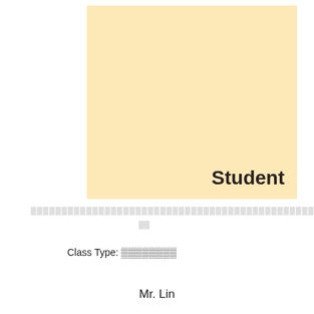[Figure (illustration): A large light-yellow/cream colored rectangle occupying the upper portion of the page, serving as a cover image background with the word 'Student' in bold dark text at the lower right.]
Student
▒▒▒▒▒▒▒▒▒▒▒▒▒▒▒▒▒▒▒▒▒▒▒▒▒▒▒▒▒▒▒▒▒▒▒▒▒▒▒▒▒▒▒▒▒▒▒▒
▒▒
Class Type: ▒▒▒▒▒▒▒▒
Mr. Lin